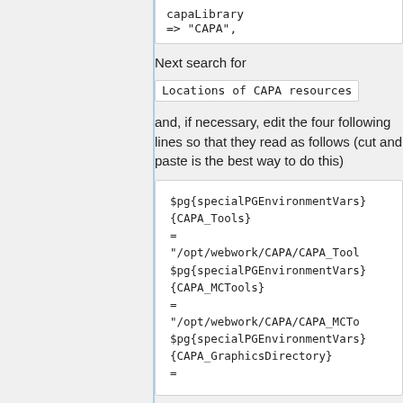capaLibrary
=> "CAPA",
Next search for
Locations of CAPA resources
and, if necessary, edit the four following lines so that they read as follows (cut and paste is the best way to do this)
$pg{specialPGEnvironmentVars}{CAPA_Tools}
=
"/opt/webwork/CAPA/CAPA_Tool
$pg{specialPGEnvironmentVars}{CAPA_MCTools}
=
"/opt/webwork/CAPA/CAPA_MCTo
$pg{specialPGEnvironmentVars}{CAPA_GraphicsDirectory}
=